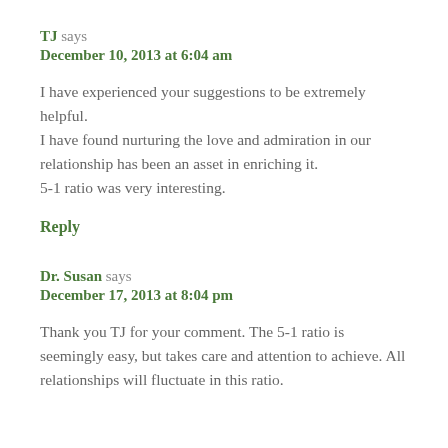TJ says
December 10, 2013 at 6:04 am
I have experienced your suggestions to be extremely helpful.
I have found nurturing the love and admiration in our relationship has been an asset in enriching it.
5-1 ratio was very interesting.
Reply
Dr. Susan says
December 17, 2013 at 8:04 pm
Thank you TJ for your comment. The 5-1 ratio is seemingly easy, but takes care and attention to achieve. All relationships will fluctuate in this ratio.